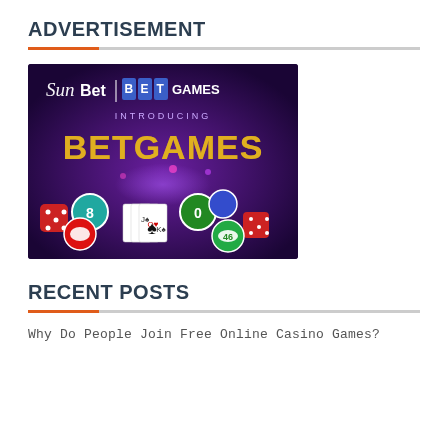ADVERTISEMENT
[Figure (illustration): SunBet BetGames advertisement image showing casino games including cards, dice, bingo balls and poker chips with 'INTRODUCING BETGAMES' text on a purple/dark background]
RECENT POSTS
Why Do People Join Free Online Casino Games?